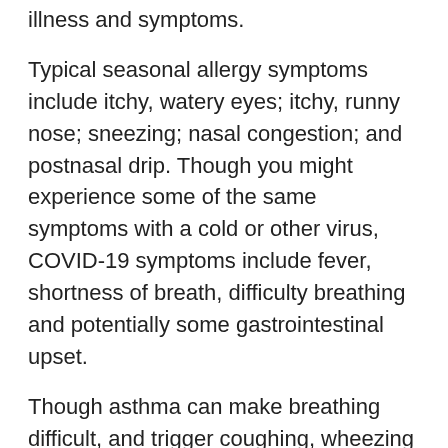illness and symptoms.
Typical seasonal allergy symptoms include itchy, watery eyes; itchy, runny nose; sneezing; nasal congestion; and postnasal drip. Though you might experience some of the same symptoms with a cold or other virus, COVID-19 symptoms include fever, shortness of breath, difficulty breathing and potentially some gastrointestinal upset.
Though asthma can make breathing difficult, and trigger coughing, wheezing and shortness of breath, if you are asthmatic, you would likely recognize an attack. But it would be unlikely that you would have a fever.
COVID-19 symptoms tend to come on quickly and worsen. With allergy and asthma, a change of scenery and medication can easily help improve symptoms.
If you have allergies or asthma, it is important to know